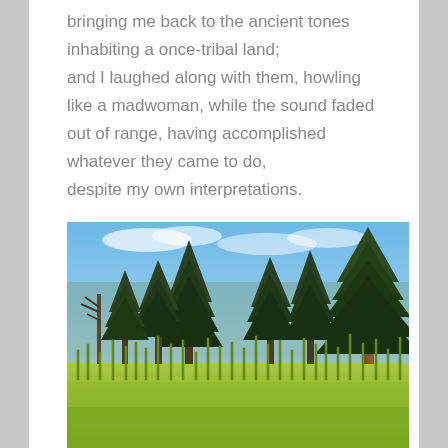bringing me back to the ancient tones
inhabiting a once-tribal land;
and I laughed along with them, howling
like a madwoman, while the sound faded
out of range, having accomplished
whatever they came to do,
despite my own interpretations.
[Figure (photo): A forest scene with tall pine trees under a blue sky with light clouds. The foreground shows a bright green meadow with tall wild plants and grasses. The trees in the middle ground are dark green conifers, with one notable rust-brown trunked pine on the right side.]